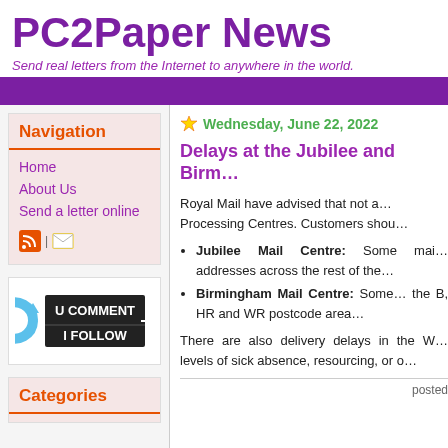PC2Paper News
Send real letters from the Internet to anywhere in the world.
Navigation
Home
About Us
Send a letter online
[Figure (logo): RSS feed icon and email icon]
[Figure (illustration): U COMMENT I FOLLOW badge with circular arrow]
Categories
Wednesday, June 22, 2022
Delays at the Jubilee and Birm...
Royal Mail have advised that not a... Processing Centres. Customers shou...
Jubilee Mail Centre: Some mail... addresses across the rest of the...
Birmingham Mail Centre: Some... the B, HR and WR postcode area...
There are also delivery delays in the W... levels of sick absence, resourcing, or o...
posted